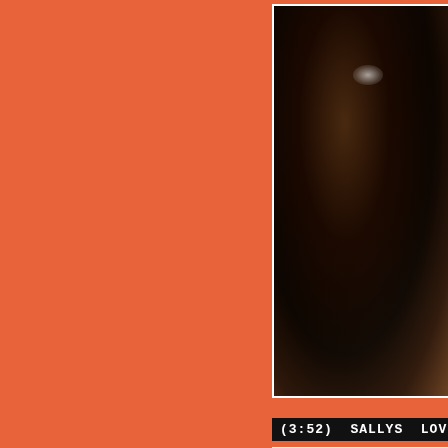[Figure (screenshot): Orange/coral background webpage layout showing two video thumbnails on the right side. Top thumbnail shows a close-up dark image. A text label reads '(3:52) SALLYS LOVER LO'. Bottom thumbnail shows a person seated.]
(3:52) SALLYS LOVER LO